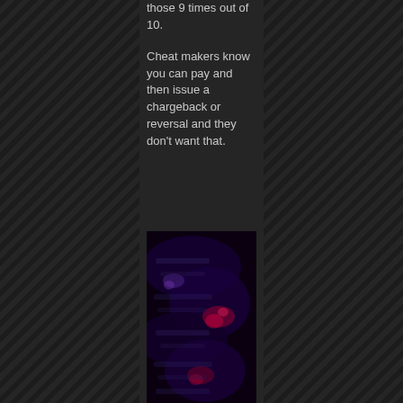those 9 times out of 10.
Cheat makers know you can pay and then issue a chargeback or reversal and they don't want that.
[Figure (photo): Dark image with blurred red and purple glowing elements, appears to be a screenshot or graphic with dark background and colorful light accents]